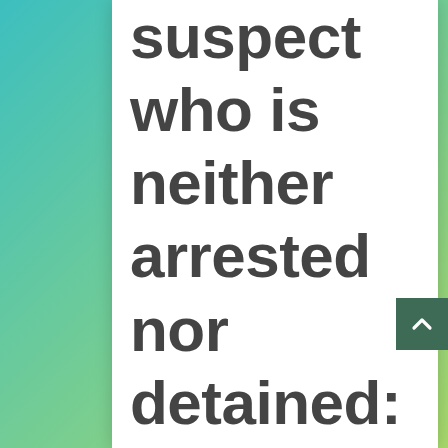suspect who is neither arrested nor detained: The Canadian Supreme